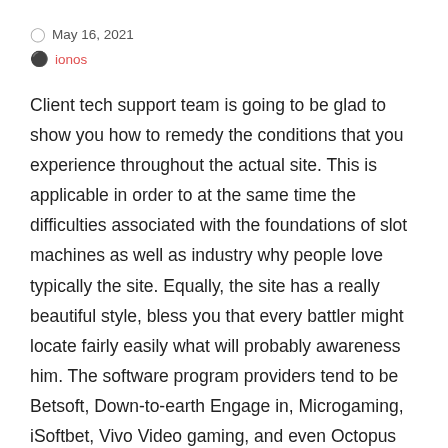May 16, 2021
ionos
Client tech support team is going to be glad to show you how to remedy the conditions that you experience throughout the actual site. This is applicable in order to at the same time the difficulties associated with the foundations of slot machines as well as industry why people love typically the site. Equally, the site has a really beautiful style, bless you that every battler might locate fairly easily what will probably awareness him. The software program providers tend to be Betsoft, Down-to-earth Engage in, Microgaming, iSoftbet, Vivo Video gaming, and even Octopus Casino, just about all tremendously shielded, being sure a secure and then truthful gambling experience. Tangiers Casino's customer support office personnel that